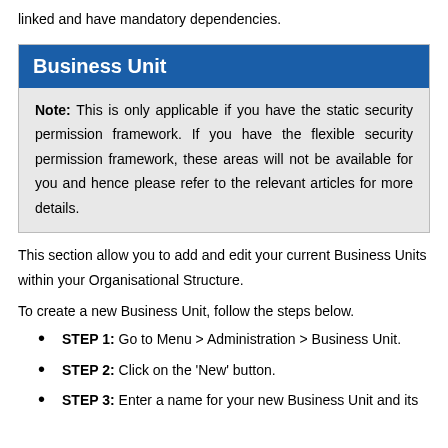linked and have mandatory dependencies.
Business Unit
Note: This is only applicable if you have the static security permission framework. If you have the flexible security permission framework, these areas will not be available for you and hence please refer to the relevant articles for more details.
This section allow you to add and edit your current Business Units within your Organisational Structure.
To create a new Business Unit, follow the steps below.
STEP 1: Go to Menu > Administration > Business Unit.
STEP 2: Click on the 'New' button.
STEP 3: Enter a name for your new Business Unit and its